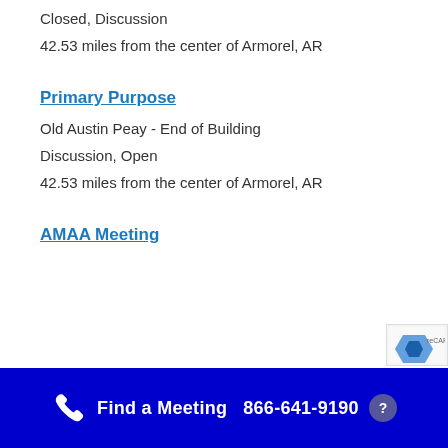Closed, Discussion
42.53 miles from the center of Armorel, AR
Primary Purpose
Old Austin Peay - End of Building
Discussion, Open
42.53 miles from the center of Armorel, AR
AMAA Meeting
Find a Meeting  866-641-9190